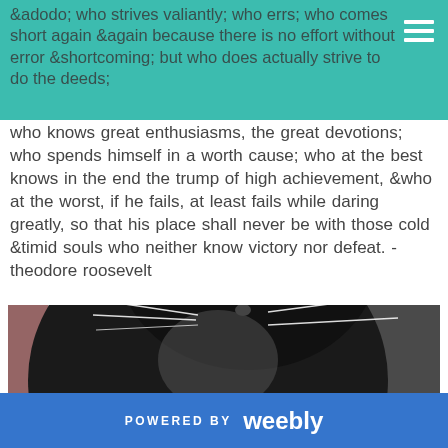&adodo; who strives valiantly; who errs; who comes short again &again because there is no effort without error &shortcoming; but who does actually strive to do the deeds;
who knows great enthusiasms, the great devotions; who spends himself in a worth cause; who at the best knows in the end the trump of high achievement, &who at the worst, if he fails, at least fails while daring greatly, so that his place shall never be with those cold &timid souls who neither know victory nor defeat. -theodore roosevelt
[Figure (photo): Close-up photograph of a black cat with white whiskers and bright eyes, looking at the camera. Background shows a gray surface and some dark/colored elements.]
POWERED BY weebly